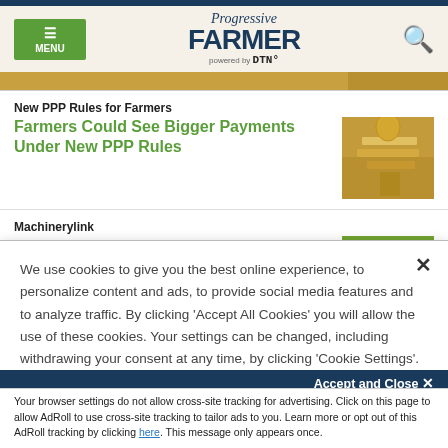Progressive FARMER powered by DTN
New PPP Rules for Farmers
Farmers Could See Bigger Payments Under New PPP Rules
[Figure (photo): Photo of money/cash with hourglass]
Machinerylink
See It, Kill It
[Figure (photo): Photo of green tractor in field]
We use cookies to give you the best online experience, to personalize content and ads, to provide social media features and to analyze traffic. By clicking 'Accept All Cookies' you will allow the use of these cookies. Your settings can be changed, including withdrawing your consent at any time, by clicking 'Cookie Settings'. Find out more on how we and third parties use cookies in our  Cookie Policy
Accept and Close ×
Your browser settings do not allow cross-site tracking for advertising. Click on this page to allow AdRoll to use cross-site tracking to tailor ads to you. Learn more or opt out of this AdRoll tracking by clicking here. This message only appears once.